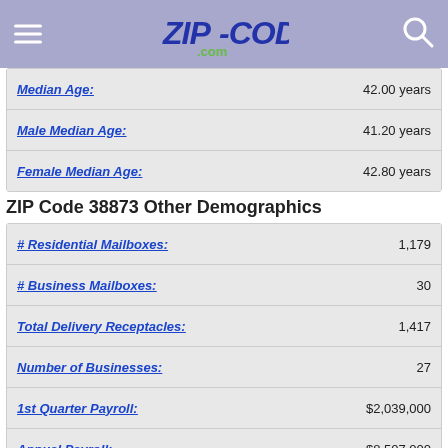ZIP-CODES.com
| Field | Value |
| --- | --- |
| Median Age: | 42.00 years |
| Male Median Age: | 41.20 years |
| Female Median Age: | 42.80 years |
ZIP Code 38873 Other Demographics
| Field | Value |
| --- | --- |
| # Residential Mailboxes: | 1,179 |
| # Business Mailboxes: | 30 |
| Total Delivery Receptacles: | 1,417 |
| Number of Businesses: | 27 |
| 1st Quarter Payroll: | $2,039,000 |
| Annual Payroll: | $8,507,000 |
| # of Employees: | 217 |
| Water Area: | 5.164 sq mi |